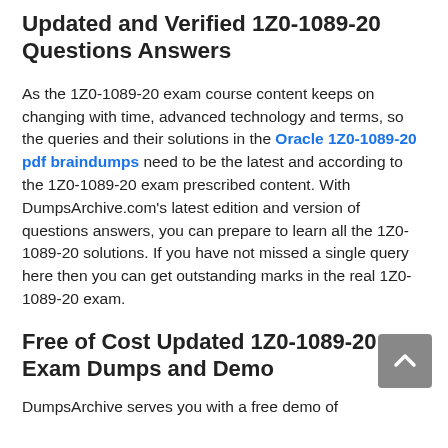Updated and Verified 1Z0-1089-20 Questions Answers
As the 1Z0-1089-20 exam course content keeps on changing with time, advanced technology and terms, so the queries and their solutions in the Oracle 1Z0-1089-20 pdf braindumps need to be the latest and according to the 1Z0-1089-20 exam prescribed content. With DumpsArchive.com's latest edition and version of questions answers, you can prepare to learn all the 1Z0-1089-20 solutions. If you have not missed a single query here then you can get outstanding marks in the real 1Z0-1089-20 exam.
Free of Cost Updated 1Z0-1089-20 Exam Dumps and Demo
DumpsArchive serves you with a free demo of